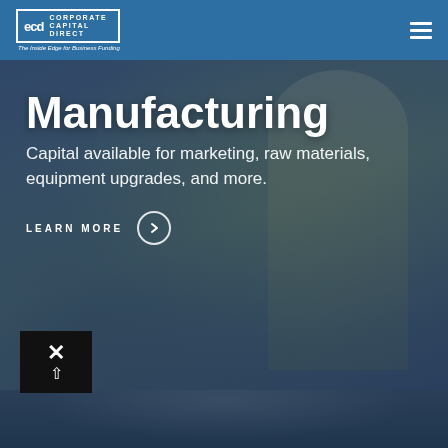[Figure (logo): CCD Corporate Capital Direct logo with tagline 'The Inside Edge for Business Funding']
[Figure (photo): Manufacturing worker in hard hat and hi-vis jacket using a tablet in an industrial setting]
Manufacturing
Capital available for marketing, raw materials, equipment upgrades, and more.
LEARN MORE
[Figure (photo): Partial view of a person at the bottom of the page, industrial background]